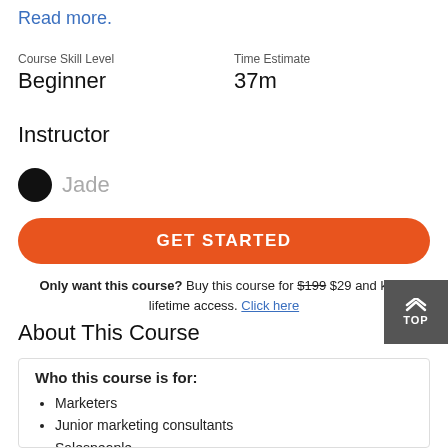Read more.
Course Skill Level
Beginner
Time Estimate
37m
Instructor
Jade
GET STARTED
Only want this course? Buy this course for $199 $29 and keep lifetime access. Click here
About This Course
Who this course is for:
Marketers
Junior marketing consultants
Salespeople
Business owners